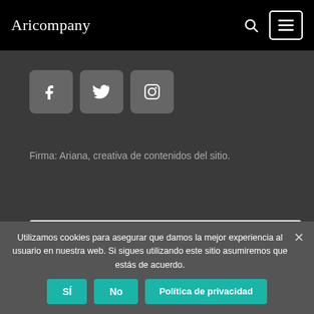Aricompany
[Figure (screenshot): Social media icons: Facebook, Twitter, Instagram buttons with dark rounded square backgrounds]
Firma: Ariana, creativa de contenidos del sitio.
[Figure (screenshot): Search bar with placeholder text 'Search...' and search icon on right]
Utilizamos cookies para asegurar que damos la mejor experiencia al usuario en nuestra web. Si sigues utilizando este sitio asumiremos que estás de acuerdo.
SÍ | No | Política de privacidad